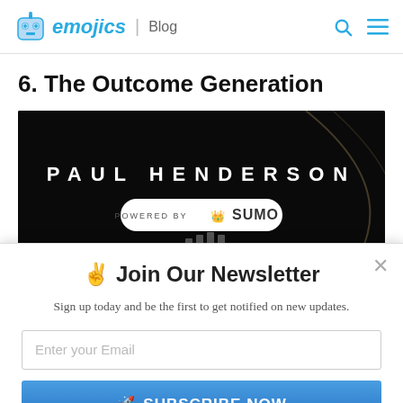emojics | Blog
6. The Outcome Generation
[Figure (photo): Book cover or promotional image for 'Paul Henderson' on a dark/black background with a 'Powered by SUMO' badge]
✌ Join Our Newsletter
Sign up today and be the first to get notified on new updates.
Enter your Email
🚀 SUBSCRIBE NOW